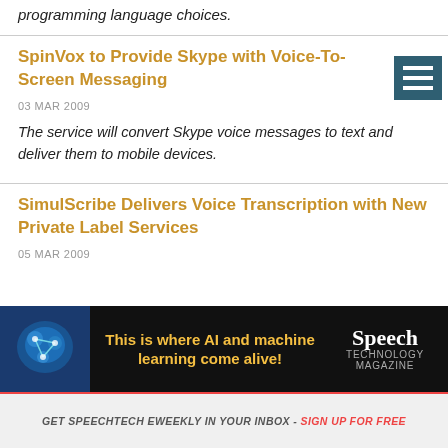programming language choices.
SpinVox to Provide Skype with Voice-To-Screen Messaging
03 MAR 2009
The service will convert Skype voice messages to text and deliver them to mobile devices.
SimulScribe Delivers Voice Transcription with New Private Label Services
05 MAR 2009
[Figure (infographic): Advertisement banner: This is where AI and machine learning come alive! Speech Technology magazine]
GET SPEECHTECH EWEEKLY IN YOUR INBOX - SIGN UP FOR FREE